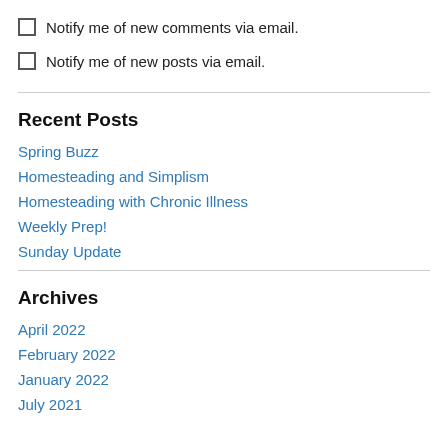Notify me of new comments via email.
Notify me of new posts via email.
Recent Posts
Spring Buzz
Homesteading and Simplism
Homesteading with Chronic Illness
Weekly Prep!
Sunday Update
Archives
April 2022
February 2022
January 2022
July 2021